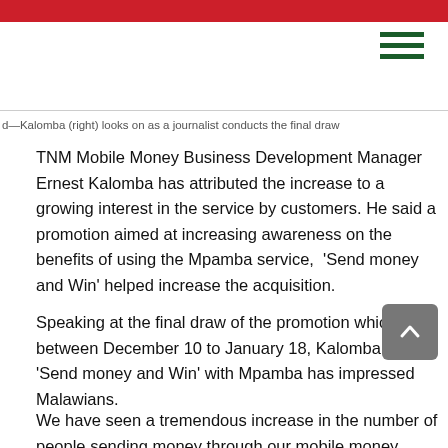d—Kalomba (right) looks on as a journalist conducts the final draw
TNM Mobile Money Business Development Manager Ernest Kalomba has attributed the increase to a growing interest in the service by customers. He said a promotion aimed at increasing awareness on the benefits of using the Mpamba service,  'Send money and Win' helped increase the acquisition.
Speaking at the final draw of the promotion which ran between December 10 to January 18, Kalomba said 'Send money and Win' with Mpamba has impressed Malawians.
We have seen a tremendous increase in the number of people sending money through our mobile money service Mpamba  with 20 percent since we rolled out the